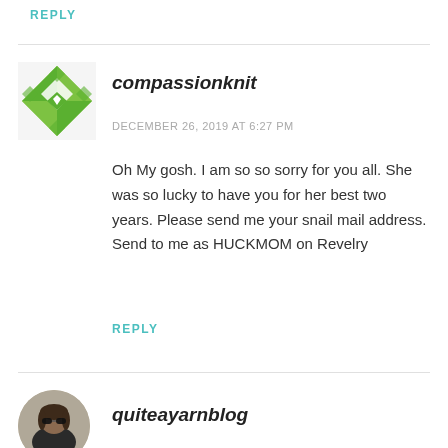REPLY
[Figure (illustration): Green geometric/mosaic square avatar for compassionknit]
compassionknit
DECEMBER 26, 2019 AT 6:27 PM
Oh My gosh. I am so so sorry for you all. She was so lucky to have you for her best two years. Please send me your snail mail address. Send to me as HUCKMOM on Revelry
REPLY
[Figure (photo): Circular avatar photo of a person with sunglasses and brown hair]
quiteayarnblog